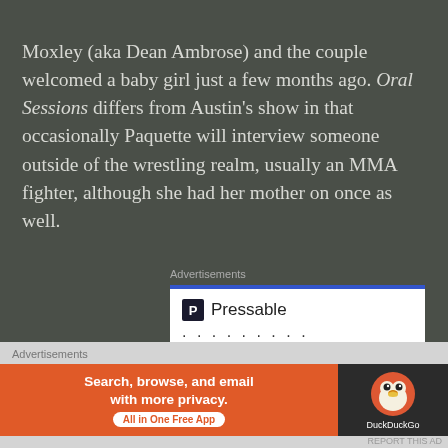Moxley (aka Dean Ambrose) and the couple welcomed a baby girl just a few months ago. Oral Sessions differs from Austin's show in that occasionally Paquette will interview someone outside of the wrestling realm, usually an MMA fighter, although she had her mother on once as well.
Advertisements
[Figure (screenshot): Pressable advertisement showing logo and tagline 'The Platform Where WordPress Works Best']
Advertisements
[Figure (screenshot): DuckDuckGo advertisement: 'Search, browse, and email with more privacy. All in One Free App']